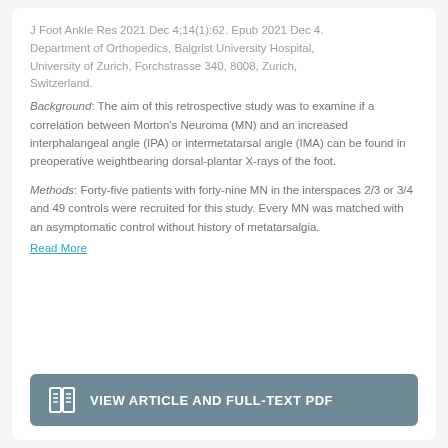J Foot Ankle Res 2021 Dec 4;14(1):62. Epub 2021 Dec 4. Department of Orthopedics, Balgrist University Hospital, University of Zurich, Forchstrasse 340, 8008, Zurich, Switzerland.
Background: The aim of this retrospective study was to examine if a correlation between Morton's Neuroma (MN) and an increased interphalangeal angle (IPA) or intermetatarsal angle (IMA) can be found in preoperative weightbearing dorsal-plantar X-rays of the foot.
Methods: Forty-five patients with forty-nine MN in the interspaces 2/3 or 3/4 and 49 controls were recruited for this study. Every MN was matched with an asymptomatic control without history of metatarsalgia.
Read More
VIEW ARTICLE AND FULL-TEXT PDF